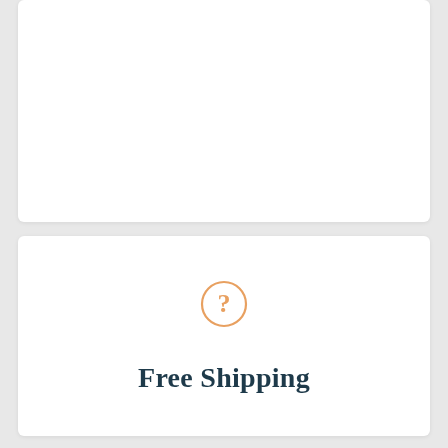[Figure (illustration): White card panel at top, empty content area]
[Figure (illustration): White card panel with a question mark icon inside an orange circle, and bold teal text reading 'Free Shipping']
Free Shipping